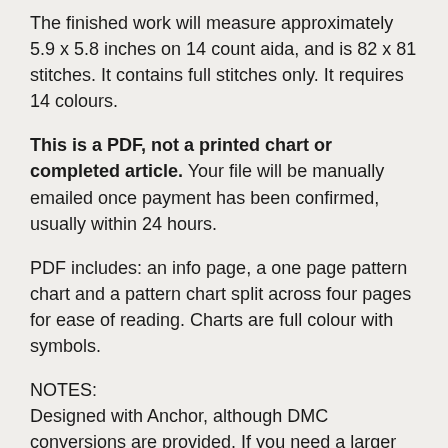The finished work will measure approximately 5.9 x 5.8 inches on 14 count aida, and is 82 x 81 stitches. It contains full stitches only. It requires 14 colours.
This is a PDF, not a printed chart or completed article. Your file will be manually emailed once payment has been confirmed, usually within 24 hours.
PDF includes: an info page, a one page pattern chart and a pattern chart split across four pages for ease of reading. Charts are full colour with symbols.
NOTES:
Designed with Anchor, although DMC conversions are provided. If you need a larger pattern chart, black and white etc. please get in touch.